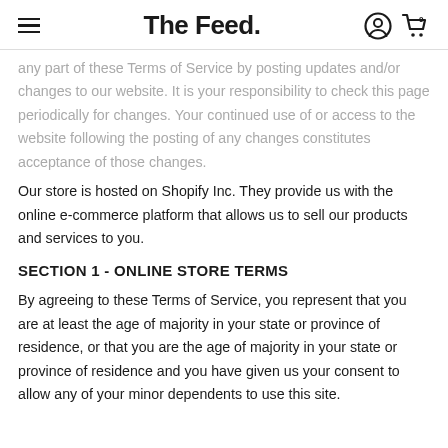The Feed.
any part of these Terms of Service by posting updates and/or changes to our website. It is your responsibility to check this page periodically for changes. Your continued use of or access to the website following the posting of any changes constitutes acceptance of those changes.
Our store is hosted on Shopify Inc. They provide us with the online e-commerce platform that allows us to sell our products and services to you.
SECTION 1 - ONLINE STORE TERMS
By agreeing to these Terms of Service, you represent that you are at least the age of majority in your state or province of residence, or that you are the age of majority in your state or province of residence and you have given us your consent to allow any of your minor dependents to use this site.